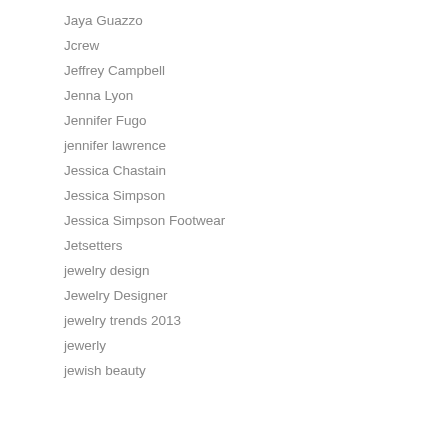Jaya Guazzo
Jcrew
Jeffrey Campbell
Jenna Lyon
Jennifer Fugo
jennifer lawrence
Jessica Chastain
Jessica Simpson
Jessica Simpson Footwear
Jetsetters
jewelry design
Jewelry Designer
jewelry trends 2013
jewerly
jewish beauty